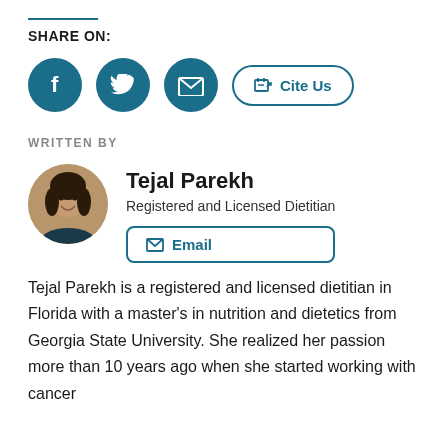SHARE ON:
[Figure (infographic): Social share buttons: Facebook (circle), Twitter (circle), Email (circle), and a Cite Us pill button]
WRITTEN BY
[Figure (photo): Circular headshot of Tejal Parekh smiling, professional portrait]
Tejal Parekh
Registered and Licensed Dietitian
Email
Tejal Parekh is a registered and licensed dietitian in Florida with a master's in nutrition and dietetics from Georgia State University. She realized her passion more than 10 years ago when she started working with cancer